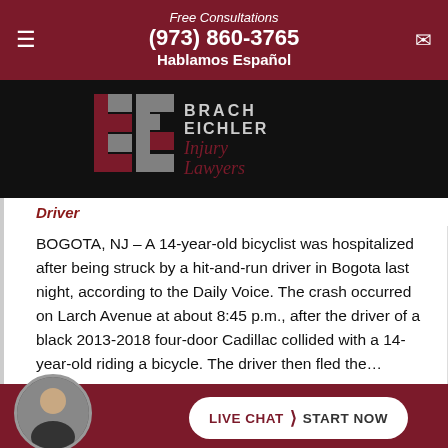Free Consultations
(973) 860-3765
Hablamos Español
[Figure (logo): Brach Eichler Injury Lawyers logo — red and gray block letter B and E with text 'BRACH EICHLER Injury Lawyers']
Driver
BOGOTA, NJ – A 14-year-old bicyclist was hospitalized after being struck by a hit-and-run driver in Bogota last night, according to the Daily Voice. The crash occurred on Larch Avenue at about 8:45 p.m., after the driver of a black 2013-2018 four-door Cadillac collided with a 14-year-old riding a bicycle. The driver then fled the…
LIVE CHAT › START NOW